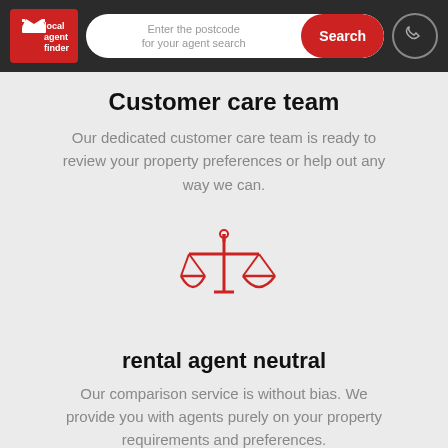local agent finder — Enter the postcode for your agent search — Search
Customer care team
Our dedicated customer care team is ready to review your property preferences or help out any way we can.
[Figure (illustration): Red outline icon of a balance scale (scales of justice)]
rental agent neutral
Our comparison service is without bias. We provide you with agents purely on your property requirements and preferences.